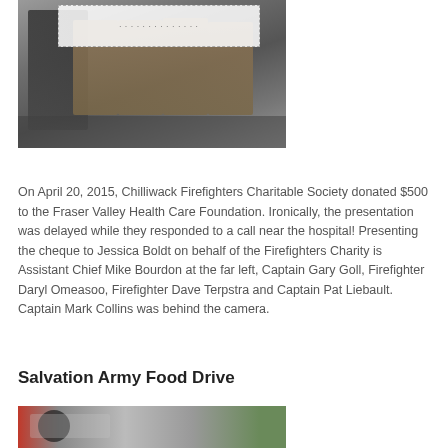[Figure (photo): Group of firefighters in gear holding a large cheque, standing in front of a fire station]
On April 20, 2015, Chilliwack Firefighters Charitable Society donated $500 to the Fraser Valley Health Care Foundation. Ironically, the presentation was delayed while they responded to a call near the hospital! Presenting the cheque to Jessica Boldt on behalf of the Firefighters Charity is Assistant Chief Mike Bourdon at the far left, Captain Gary Goll, Firefighter Daryl Omeasoo, Firefighter Dave Terpstra and Captain Pat Liebault. Captain Mark Collins was behind the camera.
Salvation Army Food Drive
[Figure (photo): A firefighter sitting in the cab of a fire truck]